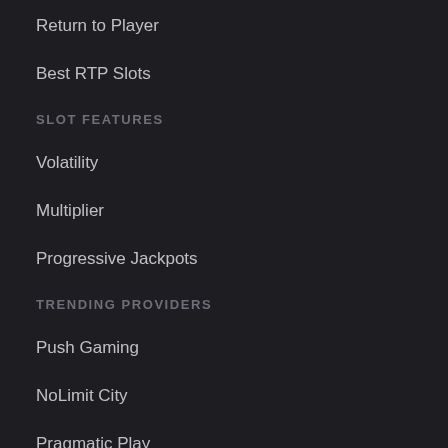Return to Player
Best RTP Slots
SLOT FEATURES
Volatility
Multiplier
Progressive Jackpots
TRENDING PROVIDERS
Push Gaming
NoLimit City
Pragmatic Play